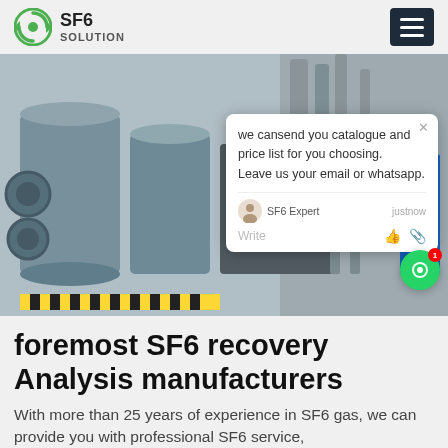SF6 SOLUTION
[Figure (photo): Industrial SF6 gas recovery equipment at a factory site, showing large cylindrical tanks, pipes, and workers in safety gear on metal scaffolding. A chat popup overlay is visible on the right side of the image.]
foremost SF6 recovery Analysis manufacturers
With more than 25 years of experience in SF6 gas, we can provide you with professional SF6 service,